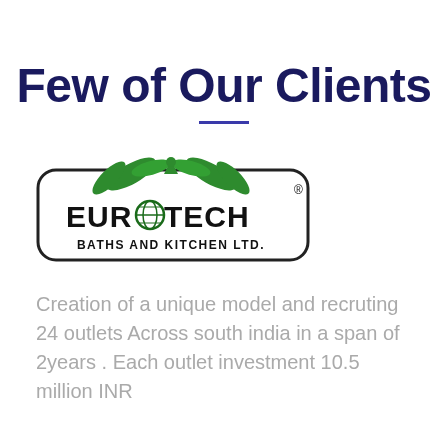Few of Our Clients
[Figure (logo): Eurotech Baths and Kitchen Ltd. logo — rounded rectangle border with green leaf/bird wings above bold black text 'EUROTECH' (O replaced by globe icon), and 'BATHS AND KITCHEN LTD.' below, with registered trademark symbol.]
Creation of a unique model and recruting 24 outlets Across south india in a span of 2years . Each outlet investment 10.5 million INR